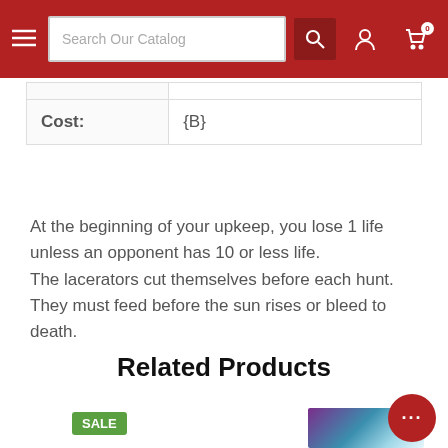Search Our Catalog
|  |  |
| Cost: | {B} |
At the beginning of your upkeep, you lose 1 life unless an opponent has 10 or less life.
The lacerators cut themselves before each hunt. They must feed before the sun rises or bleed to death.
Related Products